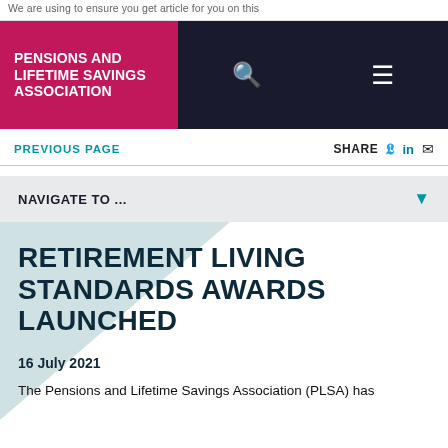We are using to ensure you get article for you on this
[Figure (logo): Pensions and Lifetime Savings Association logo — white bold text on crimson/magenta background]
PREVIOUS PAGE
SHARE
NAVIGATE TO ...
RETIREMENT LIVING STANDARDS AWARDS LAUNCHED
16 July 2021
The Pensions and Lifetime Savings Association (PLSA) has